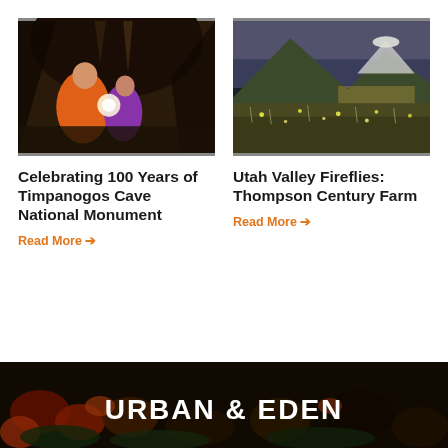[Figure (photo): Two children in a cave, one wearing an orange hoodie holding a flashlight, looking at a stalactite]
[Figure (photo): Landscape photo of Utah valley at dusk with mountains in background and fireflies visible in a meadow]
Celebrating 100 Years of Timpanogos Cave National Monument
Read More →
Utah Valley Fireflies: Thompson Century Farm
Read More →
[Figure (photo): Dark overhead photo of colorful garden or foliage forming the background of the Urban & Eden banner]
URBAN & EDEN